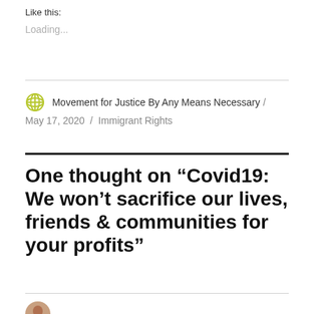Like this:
Loading...
Movement for Justice By Any Means Necessary / May 17, 2020 / Immigrant Rights
One thought on “Covid19: We won’t sacrifice our lives, friends & communities for your profits”